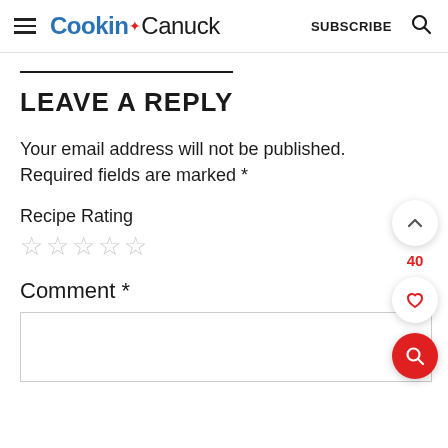Cookin* Canuck   SUBSCRIBE
LEAVE A REPLY
Your email address will not be published. Required fields are marked *
Recipe Rating
☆☆☆☆☆
Comment *